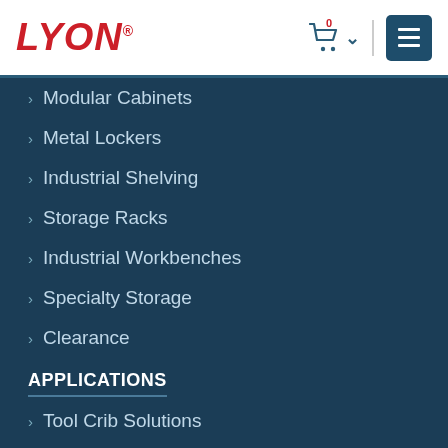LYON
Modular Cabinets
Metal Lockers
Industrial Shelving
Storage Racks
Industrial Workbenches
Specialty Storage
Clearance
APPLICATIONS
Tool Crib Solutions
Warehouse Storage
Automotive Solutions
Office St...